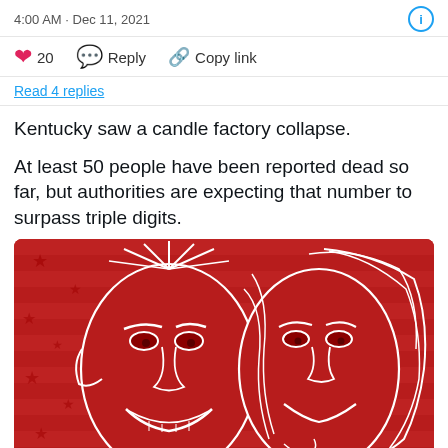4:00 AM · Dec 11, 2021
20  Reply  Copy link
Read 4 replies
Kentucky saw a candle factory collapse.
At least 50 people have been reported dead so far, but authorities are expecting that number to surpass triple digits.
[Figure (illustration): Red and white line-art illustration of two smiling people (a man and a woman) against a red background with American flag stars and stripes pattern.]